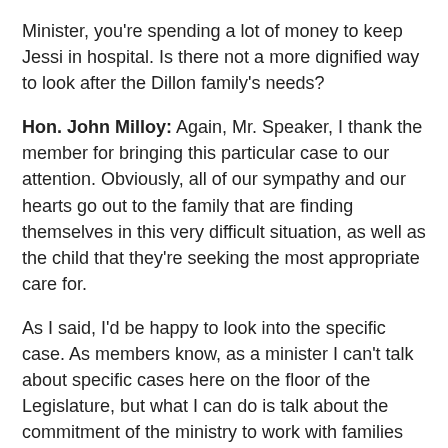Minister, you're spending a lot of money to keep Jessi in hospital. Is there not a more dignified way to look after the Dillon family's needs?
Hon. John Milloy: Again, Mr. Speaker, I thank the member for bringing this particular case to our attention. Obviously, all of our sympathy and our hearts go out to the family that are finding themselves in this very difficult situation, as well as the child that they're seeking the most appropriate care for.
As I said, I'd be happy to look into the specific case. As members know, as a minister I can't talk about specific cases here on the floor of the Legislature, but what I can do is talk about the commitment of the ministry to work with families and individuals to make sure they receive the type of care that's most appropriate for their circumstances.
I would point out to the honourable member that under